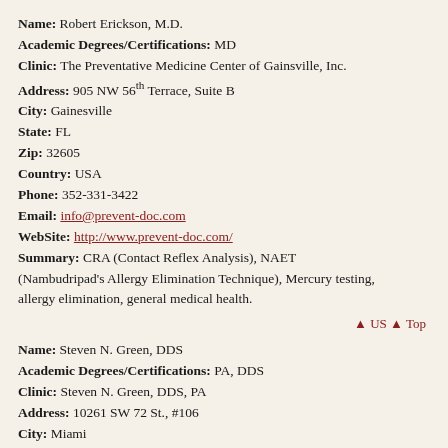Name: Robert Erickson, M.D.
Academic Degrees/Certifications: MD
Clinic: The Preventative Medicine Center of Gainsville, Inc.
Address: 905 NW 56th Terrace, Suite B
City: Gainesville
State: FL
Zip: 32605
Country: USA
Phone: 352-331-3422
Email: info@prevent-doc.com
WebSite: http://www.prevent-doc.com/
Summary: CRA (Contact Reflex Analysis), NAET (Nambudripad's Allergy Elimination Technique), Mercury testing, allergy elimination, general medical health.
▲ US ▲ Top
Name: Steven N. Green, DDS
Academic Degrees/Certifications: PA, DDS
Clinic: Steven N. Green, DDS, PA
Address: 10261 SW 72 St., #106
City: Miami
State: FL
Zip: 33173
Country: USA